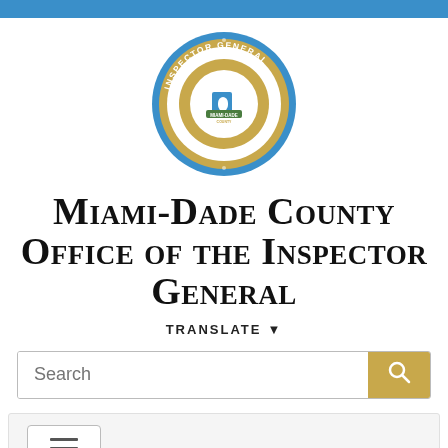[Figure (logo): Miami-Dade County Office of the Inspector General circular seal with blue border, gold outer ring, text 'INSPECTOR GENERAL' at top, 'Independent Oversight of County Affairs' along bottom, and Miami-Dade County logo in center]
Miami-Dade County Office of the Inspector General
TRANSLATE ▾
Search
[Figure (screenshot): Navigation hamburger menu button (three horizontal lines) inside a bordered box on a light gray background]